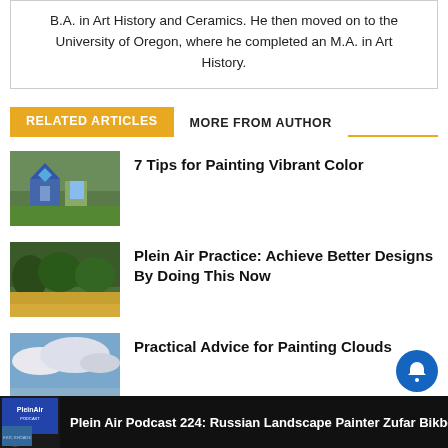B.A. in Art History and Ceramics. He then moved on to the University of Oregon, where he completed an M.A. in Art History.
RELATED ARTICLES   MORE FROM AUTHOR
7 Tips for Painting Vibrant Color
[Figure (photo): Colorful house painting with blue geometric shapes and green trees]
Plein Air Practice: Achieve Better Designs By Doing This Now
[Figure (photo): Landscape painting with trees and golden field]
Practical Advice for Painting Clouds
[Figure (photo): Cloudy sky painting]
Plein Air Podcast 224: Russian Landscape Painter Zufar Bikbo